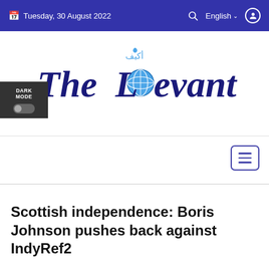Tuesday, 30 August 2022 | English
[Figure (logo): The Levant newspaper logo in decorative blackletter/gothic font with a globe replacing the 'o' in Levant, and Arabic text above]
DARK MODE
Scottish independence: Boris Johnson pushes back against IndyRef2